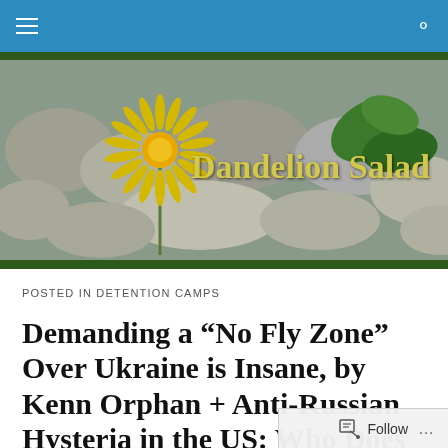[Figure (photo): Website header banner showing a yellow dandelion flower on rocks with green leaves in background. Text 'Dandelion Salad' overlaid in yellow.]
POSTED IN DETENTION CAMPS
Demanding a “No Fly Zone” Over Ukraine is Insane, by Kenn Orphan + Anti-Russian Hysteria in the US: Who Does